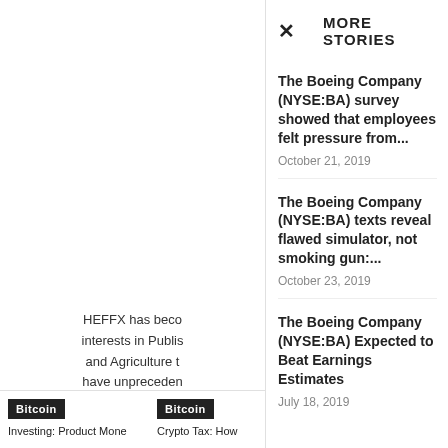HEFFX has beco interests in Publis and Agriculture t have unpreceden brokering, bar
MORE STORIES
The Boeing Company (NYSE:BA) survey showed that employees felt pressure from...
October 21, 2019
The Boeing Company (NYSE:BA) texts reveal flawed simulator, not smoking gun:...
October 23, 2019
The Boeing Company (NYSE:BA) Expected to Beat Earnings Estimates
July 18, 2019
Bitcoin
Bitcoin
Dining